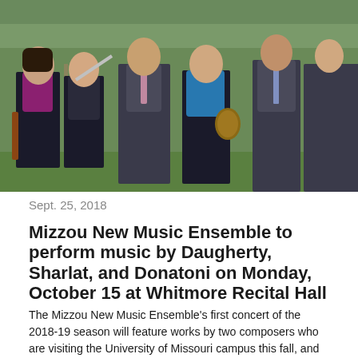[Figure (photo): Group photo of Mizzou New Music Ensemble members posing outdoors, including musicians holding instruments such as a flute and violin.]
Sept. 25, 2018
Mizzou New Music Ensemble to perform music by Daugherty, Sharlat, and Donatoni on Monday, October 15 at Whitmore Recital Hall
The Mizzou New Music Ensemble's first concert of the 2018-19 season will feature works by two composers who are visiting the University of Missouri campus this fall, and more. The Ensemble will perform at 7:30 p.m. Monday, October 15 at